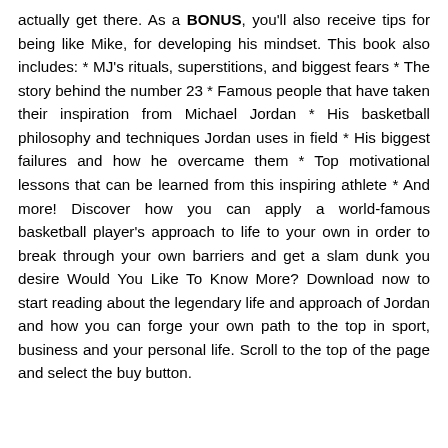actually get there. As a BONUS, you'll also receive tips for being like Mike, for developing his mindset. This book also includes: * MJ's rituals, superstitions, and biggest fears * The story behind the number 23 * Famous people that have taken their inspiration from Michael Jordan * His basketball philosophy and techniques Jordan uses in field * His biggest failures and how he overcame them * Top motivational lessons that can be learned from this inspiring athlete * And more! Discover how you can apply a world-famous basketball player's approach to life to your own in order to break through your own barriers and get a slam dunk you desire Would You Like To Know More? Download now to start reading about the legendary life and approach of Jordan and how you can forge your own path to the top in sport, business and your personal life. Scroll to the top of the page and select the buy button.